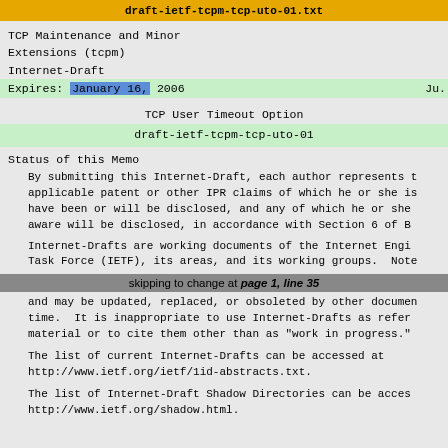draft-ietf-tcpm-tcp-uto-01.txt
TCP Maintenance and Minor
Extensions (tcpm)
Internet-Draft
Expires: January 16, 2006
                                                          Ju.
TCP User Timeout Option
draft-ietf-tcpm-tcp-uto-01
Status of this Memo
By submitting this Internet-Draft, each author represents t
applicable patent or other IPR claims of which he or she is
have been or will be disclosed, and any of which he or she
aware will be disclosed, in accordance with Section 6 of B
Internet-Drafts are working documents of the Internet Engi
Task Force (IETF), its areas, and its working groups.  Noto
skipping to change at page 1, line 35
and may be updated, replaced, or obsoleted by other documen
time.  It is inappropriate to use Internet-Drafts as refer
material or to cite them other than as "work in progress."
The list of current Internet-Drafts can be accessed at
http://www.ietf.org/ietf/1id-abstracts.txt.
The list of Internet-Draft Shadow Directories can be acces
http://www.ietf.org/shadow.html.